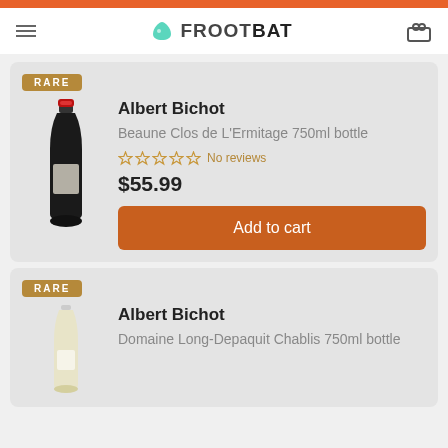FROOTBAT
[Figure (photo): Red wine bottle, dark glass with red top]
RARE
Albert Bichot
Beaune Clos de L'Ermitage 750ml bottle
No reviews
$55.99
Add to cart
[Figure (photo): White wine bottle]
RARE
Albert Bichot
Domaine Long-Depaquit Chablis 750ml bottle